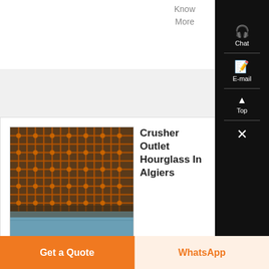Know More
[Figure (photo): Close-up photo of metal mesh/screen material with orange metallic cross-wire weave against blue background]
Crusher Outlet Hourglass In Algiers
Crusher Outlet Hourglass In Algiers Grinding mill design ball mill manufacturerStone crushes machine supplier algeriaCrushing
Get a Quote
WhatsApp